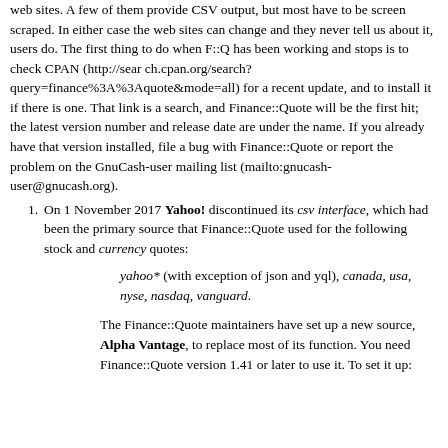web sites. A few of them provide CSV output, but most have to be screen scraped. In either case the web sites can change and they never tell us about it, users do. The first thing to do when F::Q has been working and stops is to check CPAN (http://search.cpan.org/search?query=finance%3A%3Aquote&mode=all) for a recent update, and to install it if there is one. That link is a search, and Finance::Quote will be the first hit; the latest version number and release date are under the name. If you already have that version installed, file a bug with Finance::Quote or report the problem on the GnuCash-user mailing list (mailto:gnucash-user@gnucash.org).
On 1 November 2017 Yahoo! discontinued its csv interface, which had been the primary source that Finance::Quote used for the following stock and currency quotes:
yahoo* (with exception of json and yql), canada, usa, nyse, nasdaq, vanguard.
The Finance::Quote maintainers have set up a new source, Alpha Vantage, to replace most of its function. You need Finance::Quote version 1.41 or later to use it. To set it up: